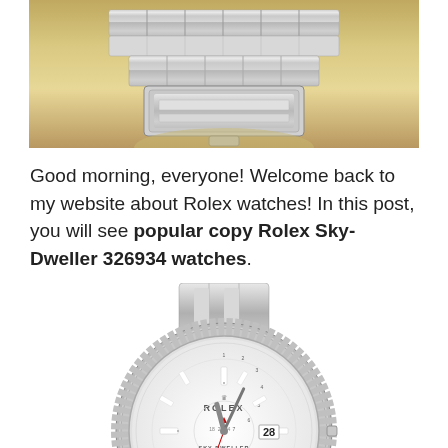[Figure (photo): Close-up photo of a silver Rolex watch bracelet/clasp on a beige/cream cushion background]
Good morning, everyone! Welcome back to my website about Rolex watches! In this post, you will see popular copy Rolex Sky-Dweller 326934 watches.
[Figure (photo): Rolex Sky-Dweller 326934 watch with white dial, fluted white gold bezel, and Oyster bracelet]